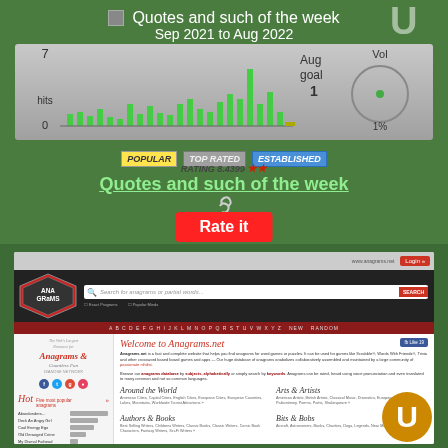[Figure (screenshot): Top section on green background showing 'Quotes and such of the week' title, bar chart for Sep 2021 to Aug 2022, badges (POPULAR, TOP RATED, ESTABLISHED), rating 8.4399 with stars, site title link, and Rate it button]
Quotes and such of the week
Sep 2021 to Aug 2022
[Figure (bar-chart): hits]
POPULAR  TOP RATED  ESTABLISHED
RATING 8.4399 ★★
Quotes and such of the week
[Figure (screenshot): Screenshot of Anagrams.net website showing header with logo, search bar, navigation, sidebar with hot anagrams list, and main content with Welcome to Anagrams.net, Around the World, Arts & Artists, Authors & Books, Bits & Bobs categories]
Rate it